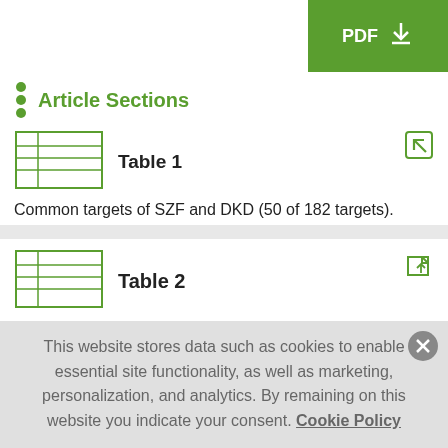+ Journal Menu  PDF ↓
Article Sections
Table 1
Common targets of SZF and DKD (50 of 182 targets).
Table 2
A total of 182 common targets.
3.3 Construction and Analysis of Network Maps
This website stores data such as cookies to enable essential site functionality, as well as marketing, personalization, and analytics. By remaining on this website you indicate your consent. Cookie Policy